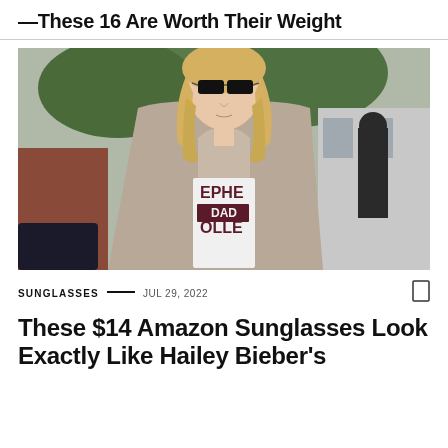—These 16 Are Worth Their Weight
[Figure (photo): Photo of a blonde woman wearing black cat-eye sunglasses, a beige blazer over a white graphic t-shirt that reads 'EPHE DAD OLLE', shot outdoors with blurred background]
SUNGLASSES — JUL 29, 2022
These $14 Amazon Sunglasses Look Exactly Like Hailey Bieber's